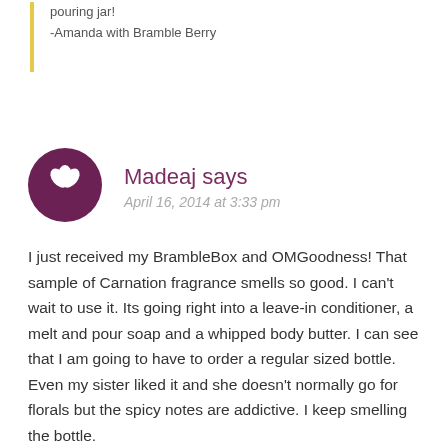pouring jar!
-Amanda with Bramble Berry
[Figure (illustration): Circular purple avatar icon with a white three-petal leaf/lotus design in the center]
Madeaj says
April 16, 2014 at 3:33 pm
I just received my BrambleBox and OMGoodness! That sample of Carnation fragrance smells so good. I can't wait to use it. Its going right into a leave-in conditioner, a melt and pour soap and a whipped body butter. I can see that I am going to have to order a regular sized bottle. Even my sister liked it and she doesn't normally go for florals but the spicy notes are addictive. I keep smelling the bottle.